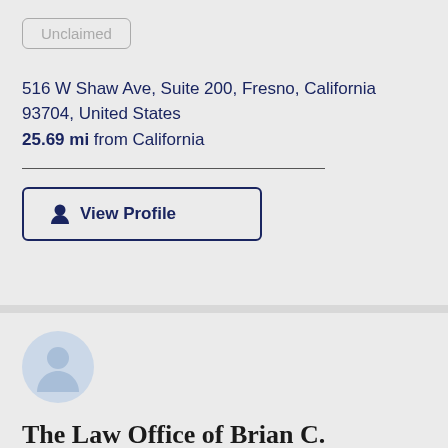Unclaimed
516 W Shaw Ave, Suite 200, Fresno, California 93704, United States
25.69 mi from California
View Profile
[Figure (illustration): Gray placeholder avatar silhouette icon in a light blue-gray circle]
The Law Office of Brian C. Andritch
Unclaimed